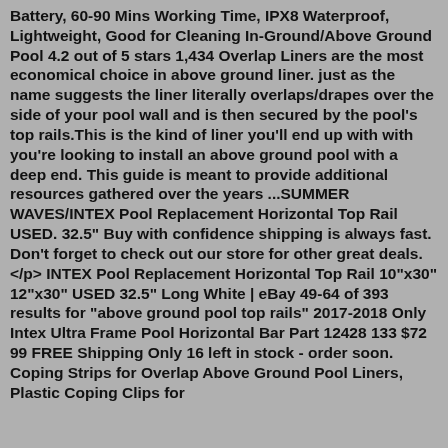Battery, 60-90 Mins Working Time, IPX8 Waterproof, Lightweight, Good for Cleaning In-Ground/Above Ground Pool 4.2 out of 5 stars 1,434 Overlap Liners are the most economical choice in above ground liner. just as the name suggests the liner literally overlaps/drapes over the side of your pool wall and is then secured by the pool's top rails.This is the kind of liner you'll end up with with you're looking to install an above ground pool with a deep end. This guide is meant to provide additional resources gathered over the years ...SUMMER WAVES/INTEX Pool Replacement Horizontal Top Rail USED. 32.5" Buy with confidence shipping is always fast. Don't forget to check out our store for other great deals.</p> INTEX Pool Replacement Horizontal Top Rail 10"x30" 12"x30" USED 32.5" Long White | eBay 49-64 of 393 results for "above ground pool top rails" 2017-2018 Only Intex Ultra Frame Pool Horizontal Bar Part 12428 133 $72 99 FREE Shipping Only 16 left in stock - order soon. Coping Strips for Overlap Above Ground Pool Liners, Plastic Coping Clips for